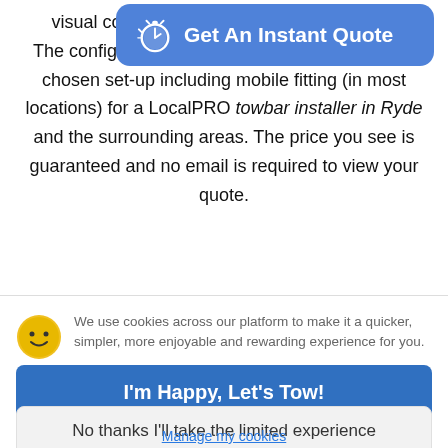[Figure (screenshot): Blue 'Get An Instant Quote' button overlay with stopwatch icon]
visual co… for you. The configurator will show you the price for your chosen set-up including mobile fitting (in most locations) for a LocalPRO towbar installer in Ryde and the surrounding areas. The price you see is guaranteed and no email is required to view your quote.
We use cookies across our platform to make it a quicker, simpler, more enjoyable and rewarding experience for you.
I'm Happy, Let's Tow!
No thanks I'll take the limited experience
Manage my cookies